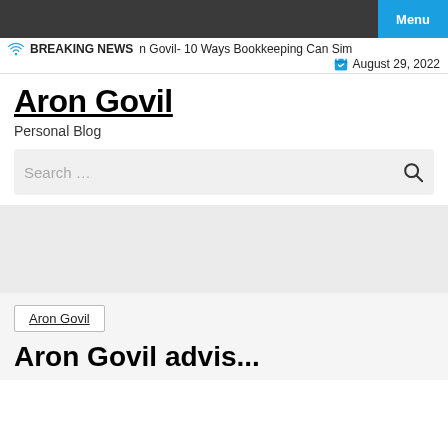Menu
BREAKING NEWS  n Govil- 10 Ways Bookkeeping Can Sim  August 29, 2022
Aron Govil
Personal Blog
Search …
[Figure (other): Grey background content area]
Aron Govil
Aron Govil advis...